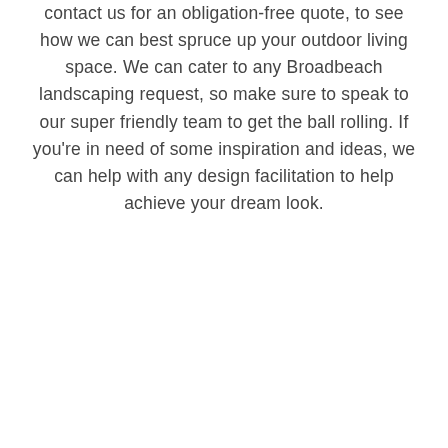contact us for an obligation-free quote, to see how we can best spruce up your outdoor living space. We can cater to any Broadbeach landscaping request, so make sure to speak to our super friendly team to get the ball rolling. If you're in need of some inspiration and ideas, we can help with any design facilitation to help achieve your dream look.